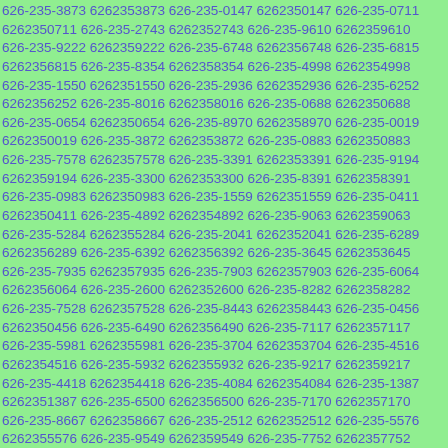626-235-3873 6262353873 626-235-0147 6262350147 626-235-0711 6262350711 626-235-2743 6262352743 626-235-9610 6262359610 626-235-9222 6262359222 626-235-6748 6262356748 626-235-6815 6262356815 626-235-8354 6262358354 626-235-4998 6262354998 626-235-1550 6262351550 626-235-2936 6262352936 626-235-6252 6262356252 626-235-8016 6262358016 626-235-0688 6262350688 626-235-0654 6262350654 626-235-8970 6262358970 626-235-0019 6262350019 626-235-3872 6262353872 626-235-0883 6262350883 626-235-7578 6262357578 626-235-3391 6262353391 626-235-9194 6262359194 626-235-3300 6262353300 626-235-8391 6262358391 626-235-0983 6262350983 626-235-1559 6262351559 626-235-0411 6262350411 626-235-4892 6262354892 626-235-9063 6262359063 626-235-5284 6262355284 626-235-2041 6262352041 626-235-6289 6262356289 626-235-6392 6262356392 626-235-3645 6262353645 626-235-7935 6262357935 626-235-7903 6262357903 626-235-6064 6262356064 626-235-2600 6262352600 626-235-8282 6262358282 626-235-7528 6262357528 626-235-8443 6262358443 626-235-0456 6262350456 626-235-6490 6262356490 626-235-7117 6262357117 626-235-5981 6262355981 626-235-3704 6262353704 626-235-4516 6262354516 626-235-5932 6262355932 626-235-9217 6262359217 626-235-4418 6262354418 626-235-4084 6262354084 626-235-1387 6262351387 626-235-6500 6262356500 626-235-7170 6262357170 626-235-8667 6262358667 626-235-2512 6262352512 626-235-5576 6262355576 626-235-9549 6262359549 626-235-7752 6262357752 626-235-7046 6262357046 626-235-9933 6262359933 626-235-8424